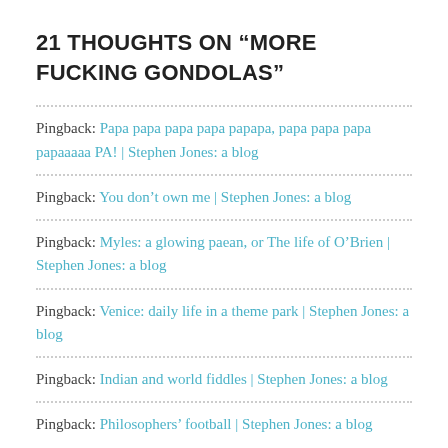21 THOUGHTS ON “MORE FUCKING GONDOLAS”
Pingback: Papa papa papa papa papapa, papa papa papa papaaaaa PA! | Stephen Jones: a blog
Pingback: You don’t own me | Stephen Jones: a blog
Pingback: Myles: a glowing paean, or The life of O’Brien | Stephen Jones: a blog
Pingback: Venice: daily life in a theme park | Stephen Jones: a blog
Pingback: Indian and world fiddles | Stephen Jones: a blog
Pingback: Philosophers’ football | Stephen Jones: a blog